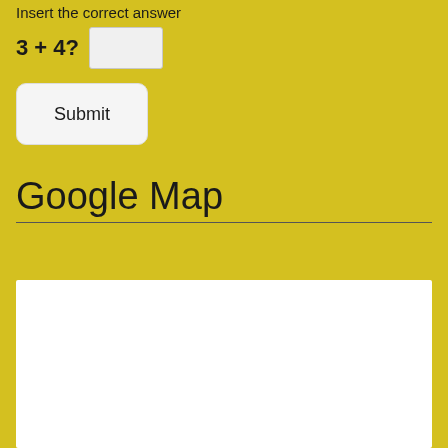Insert the correct answer
3 + 4?
Submit
Google Map
[Figure (map): White rectangle representing a Google Map placeholder area]